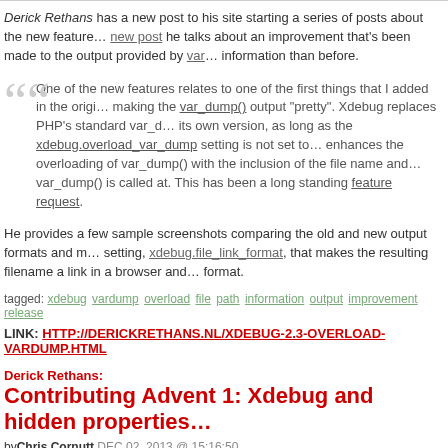Derick Rethans has a new post to his site starting a series of posts about the new features. In the new post he talks about an improvement that's been made to the output provided by var_dump() to give more information than before.
One of the new features relates to one of the first things that I added in the original release of Xdebug: making the var_dump() output "pretty". Xdebug replaces PHP's standard var_dump() function with its own version, as long as the xdebug.overload_var_dump setting is not set to 0. Xdebug 2.3 now also enhances the overloading of var_dump() with the inclusion of the file name and line number that var_dump() is called at. This has been a long standing feature request.
He provides a few sample screenshots comparing the old and new output formats and mentions a new setting, xdebug.file_link_format, that makes the resulting filename a link in a browser and mentions the format.
tagged: xdebug vardump overload file path information output improvement release
LINK: HTTP://DERICKRTHANS.NL/XDEBUG-2.3-OVERLOAD-VARDUMP.HTML
Derick Rethans:
Contributing Advent 1: Xdebug and hidden properties
by Chris Cornutt DEC 02, 2013 @ 15:16:50
As a part of his "Advent Contributing" series Derick Rethans has posted about an under...